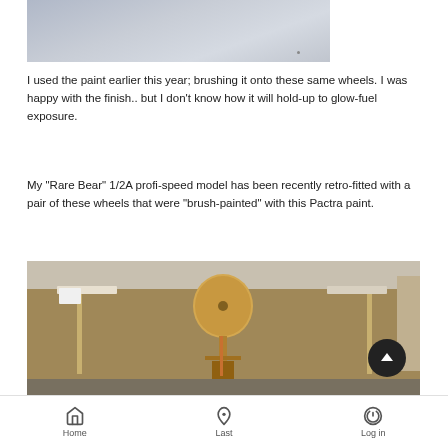[Figure (photo): Top portion of a photo showing a light grey/blue surface, partially cropped]
I used the paint earlier this year; brushing it onto these same wheels. I was happy with the finish.. but I don't know how it will hold-up to glow-fuel exposure.
My "Rare Bear" 1/2A profi-speed model has been recently retro-fitted with a pair of these wheels that were "brush-painted" with this Pactra paint.
[Figure (photo): Photo showing underside of a model aircraft on a stand, with golden/tan painted wheel visible and landing gear strut]
Home   Last   Log in